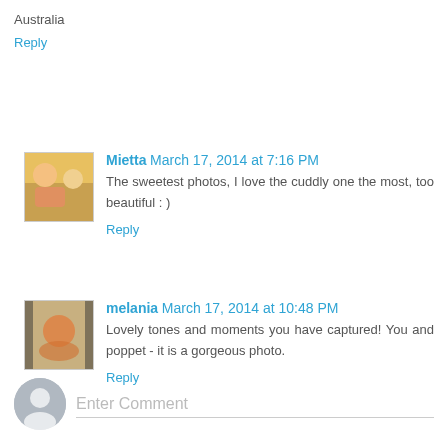Australia
Reply
Mietta  March 17, 2014 at 7:16 PM
The sweetest photos, I love the cuddly one the most, too beautiful : )
Reply
melania  March 17, 2014 at 10:48 PM
Lovely tones and moments you have captured! You and poppet - it is a gorgeous photo.
Reply
Enter Comment